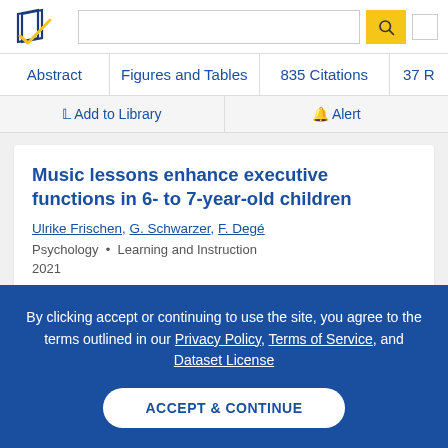Semantic Scholar — search bar and navigation
Abstract | Figures and Tables | 835 Citations | 37 R
Add to Library  Alert
Music lessons enhance executive functions in 6- to 7-year-old children
Ulrike Frischen, G. Schwarzer, F. Degé
Psychology • Learning and Instruction
2021
By clicking accept or continuing to use the site, you agree to the terms outlined in our Privacy Policy, Terms of Service, and Dataset License
ACCEPT & CONTINUE